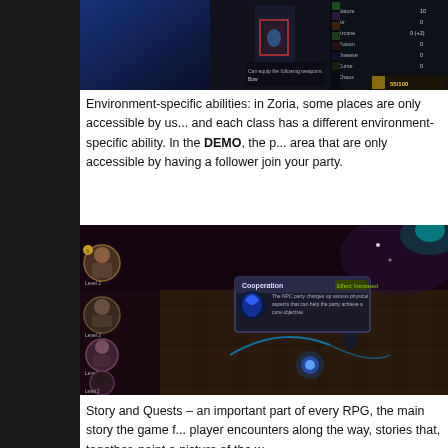[Figure (screenshot): Game screenshot showing character inventory/skills interface with dark UI, character classes, weapon equip options, and stats panel on right side. Shows 55/100 stat.]
Environment-specific abilities: in Zoria, some places are only accessible by using specific environment abilities, and each class has a different environment-specific ability. In the DEMO, the player can find places in the area that are only accessible by having a follower join your party.
[Figure (screenshot): Game screenshot showing top-down RPG gameplay in a dark dungeon/cave environment. Shows party members on left side (multiple characters at various levels), a tooltip popup showing 'Cooperation' ability description, and a character walking on stone tiles with glowing blue orb effect.]
Story and Quests – an important part of every RPG, the main story the game follows alongside the stories the player encounters along the way, stories that, together, paint a picture of the w...